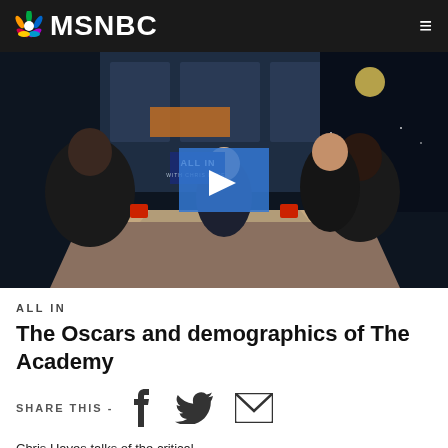MSNBC
[Figure (screenshot): MSNBC 'All In' TV studio panel discussion with host and guests at a desk, with a video play button overlay in the center]
ALL IN
The Oscars and demographics of The Academy
SHARE THIS - [Facebook icon] [Twitter icon] [Email icon]
Chris Hayes talks of the critical…